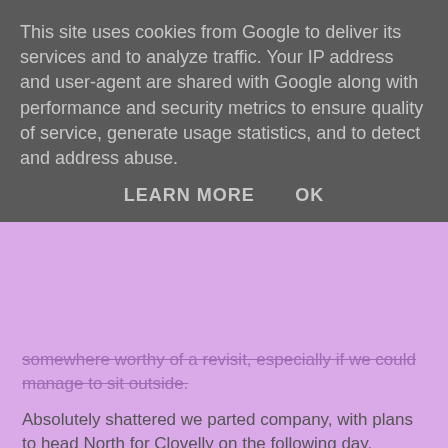[Figure (screenshot): Cookie consent banner overlay with gray background. Text reads: 'This site uses cookies from Google to deliver its services and to analyze traffic. Your IP address and user-agent are shared with Google along with performance and security metrics to ensure quality of service, generate usage statistics, and to detect and address abuse.' Two buttons: LEARN MORE and OK.]
somewhere worthy of a revisit, especially if we could manage to sit outside.
Absolutely shattered we parted company, with plans to head North for Clovelly on the following day.
******************************************************************************
*************
Carol at 11:59     No comments:
Share
Thursday, 25 October 2018